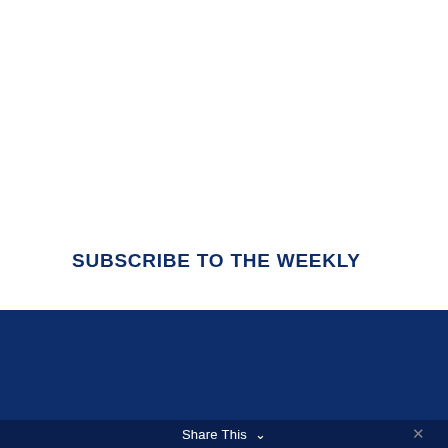SUBSCRIBE TO THE WEEKLY
[Figure (illustration): Dark navy blue banner section with a Facebook share button (orange circle with white 'f' letter)]
Share This ∨  ✕